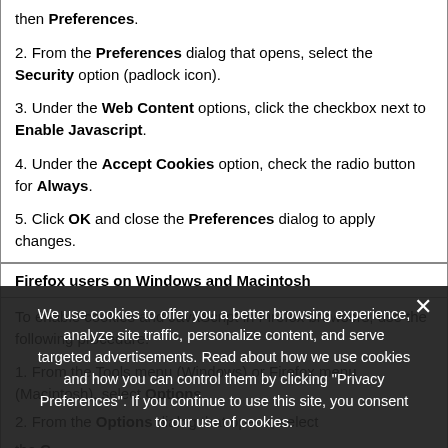then Preferences.
2. From the Preferences dialog that opens, select the Security option (padlock icon).
3. Under the Web Content options, click the checkbox next to Enable Javascript.
4. Under the Accept Cookies option, check the radio button for Always.
5. Click OK and close the Preferences dialog to apply changes.
Firefox users on Windows and Macintosh
To enable cookies and JavaScript in Firefox browsers, use the following procedure:
1. From the Tools menu (Windows) or Firefox menu (Macintosh), select Options.
2. From the Options dialog that opens, select the Content option.
3. Click...
4. S...
We use cookies to offer you a better browsing experience, analyze site traffic, personalize content, and serve targeted advertisements. Read about how we use cookies and how you can control them by clicking "Privacy Preferences". If you continue to use this site, you consent to our use of cookies.